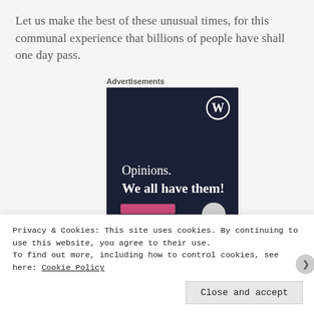Let us make the best of these unusual times, for this communal experience that billions of people have shall one day pass.
Advertisements
[Figure (screenshot): WordPress.com advertisement with dark navy background showing WordPress logo (W in circle) in top right, text 'Opinions. We all have them!' in white, pink button at bottom left, and grey circle at bottom right.]
Privacy & Cookies: This site uses cookies. By continuing to use this website, you agree to their use.
To find out more, including how to control cookies, see here: Cookie Policy
Close and accept